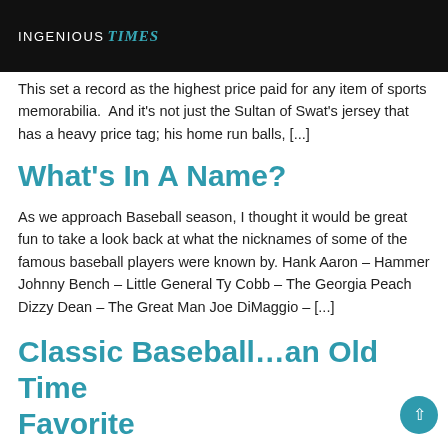INGENIOUS Times
This set a record as the highest price paid for any item of sports memorabilia.  And it's not just the Sultan of Swat's jersey that has a heavy price tag; his home run balls, [...]
What's In A Name?
As we approach Baseball season, I thought it would be great fun to take a look back at what the nicknames of some of the famous baseball players were known by. Hank Aaron – Hammer Johnny Bench – Little General Ty Cobb – The Georgia Peach Dizzy Dean – The Great Man Joe DiMaggio – [...]
Classic Baseball…an Old Time Favorite